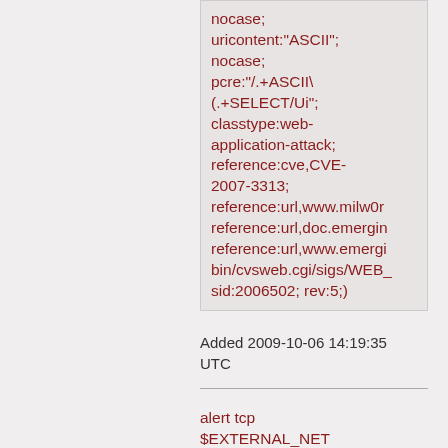nocase; uricontent:"ASCII"; nocase; pcre:"/.+ASCII\(.+SELECT/Ui"; classtype:web-application-attack; reference:cve,CVE-2007-3313; reference:url,www.milw0r... reference:url,doc.emergin... reference:url,www.emergi... bin/cvsweb.cgi/sigs/WEB_... sid:2006502; rev:5;)
Added 2009-10-06 14:19:35 UTC
alert tcp $EXTERNAL_NET